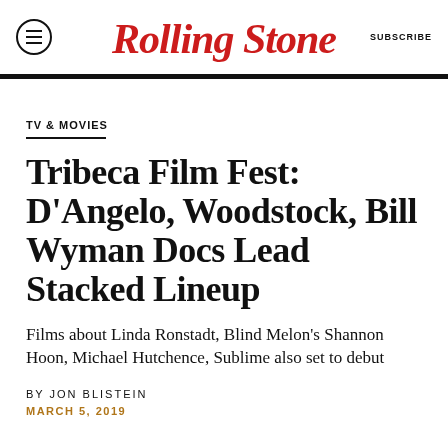Rolling Stone | SUBSCRIBE
TV & MOVIES
Tribeca Film Fest: D'Angelo, Woodstock, Bill Wyman Docs Lead Stacked Lineup
Films about Linda Ronstadt, Blind Melon's Shannon Hoon, Michael Hutchence, Sublime also set to debut
BY JON BLISTEIN
MARCH 5, 2019